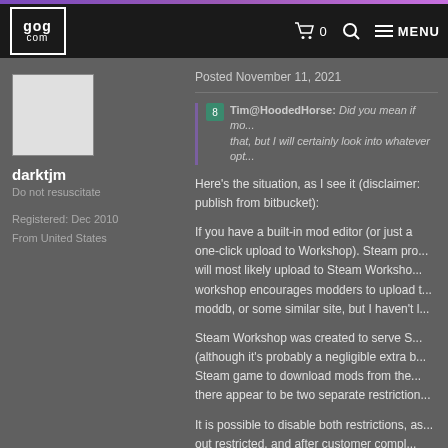GOG.COM — navigation bar with cart (0), search, and MENU
[Figure (logo): GOG.COM logo — white text in a white-bordered box on dark background]
darktjm
Do not resuscitate
Registered: Dec 2010
From United States
Posted November 11, 2021
Tim@HoodedHorse: Did you mean if mo... that, but I will certainly look into whatever opt...
Here's the situation, as I see it (disclaimer: publish from bitcucket):
If you have a built-in mod editor (or just a one-click upload to Workshop). Steam pro... will most likely upload to Steam Worksho... workshop encourages modders to upload t... moddb, or some similar site, but I haven't l...
Steam Workshop was created to serve S... (although it's probably a negligible extra b... Steam game to download mods from the... there appear to be two separate restriction...
It is possible to disable both restrictions, as... out restricted, and after customer compl...